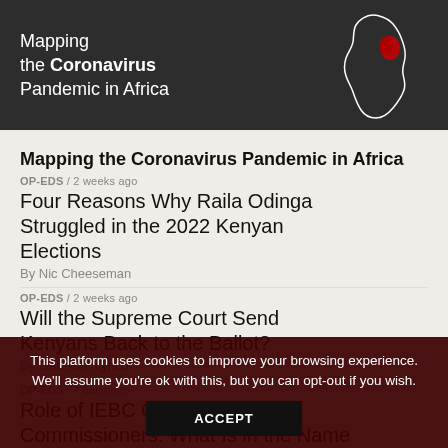[Figure (screenshot): Dark banner with 'Mapping the Coronavirus Pandemic in Africa' text and Africa map outline with red highlight]
Mapping the Coronavirus Pandemic in Africa
OP-EDS / 2 weeks ago
Four Reasons Why Raila Odinga Struggled in the 2022 Kenyan Elections
By Nic Cheeseman
OP-EDS / 2 weeks ago
Will the Supreme Court Send Kenyans Back to the Ballot?
By Gabrielle Lynch
OP-EDS / 7 days ago
Role of IEBC Chair and Commissioners: What Is in the Name
This platform uses cookies to improve your browsing experience. We'll assume you're ok with this, but you can opt-out if you wish.
ACCEPT